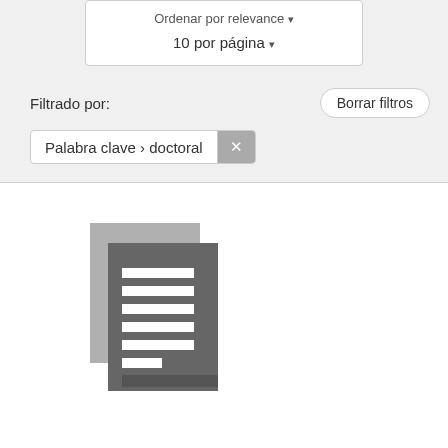Ordenar por relevance ▾
10 por página ▾
Filtrado por:
Borrar filtros
Palabra clave › doctoral ✕
[Figure (illustration): Grey icon of stacked documents/pages]